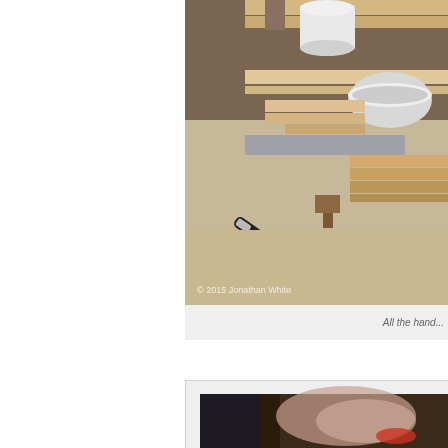[Figure (photo): Workshop scene showing wooden boards, white PVC pipe sections/fittings, a black and silver marker/pen, a red pen, and various wood pieces arranged on a work surface. Watermark reads © 2015 Jonathan White.]
All the hand...
[Figure (photo): Close-up photo showing a blurred background with what appears to be a person's hand near a red object, dark blue clothing visible.]